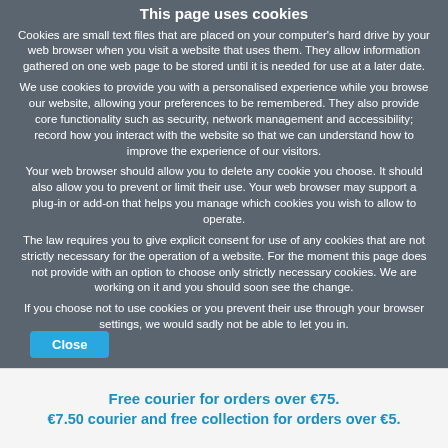This page uses cookies
Cookies are small text files that are placed on your computer's hard drive by your web browser when you visit a website that uses them. They allow information gathered on one web page to be stored until it is needed for use at a later date.
We use cookies to provide you with a personalised experience while you browse our website, allowing your preferences to be remembered. They also provide core functionality such as security, network management and accessibility; record how you interact with the website so that we can understand how to improve the experience of our visitors.
Your web browser should allow you to delete any cookie you choose. It should also allow you to prevent or limit their use. Your web browser may support a plug-in or add-on that helps you manage which cookies you wish to allow to operate.
The law requires you to give explicit consent for use of any cookies that are not strictly necessary for the operation of a website. For the moment this page does not provide with an option to choose only strictly necessary cookies. We are working on it and you should soon see the change.
If you choose not to use cookies or you prevent their use through your browser settings, we would sadly not be able to let you in.
Free courier for orders over €75.
€7.50 courier and free collection for orders over €5.